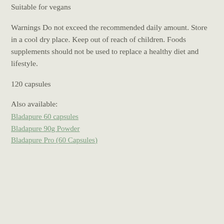Suitable for vegans
Warnings Do not exceed the recommended daily amount. Store in a cool dry place. Keep out of reach of children. Foods supplements should not be used to replace a healthy diet and lifestyle.
120 capsules
Also available:
Bladapure 60 capsules
Bladapure 90g Powder
Bladapure Pro (60 Capsules)